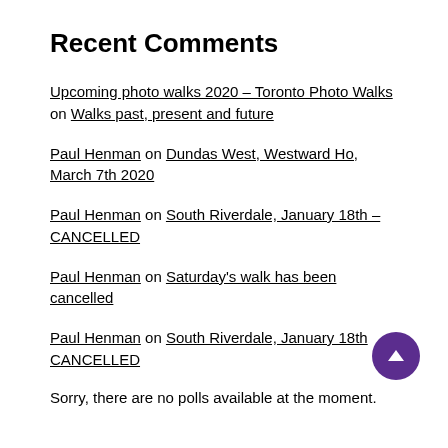Recent Comments
Upcoming photo walks 2020 – Toronto Photo Walks on Walks past, present and future
Paul Henman on Dundas West, Westward Ho, March 7th 2020
Paul Henman on South Riverdale, January 18th – CANCELLED
Paul Henman on Saturday's walk has been cancelled
Paul Henman on South Riverdale, January 18th CANCELLED
Sorry, there are no polls available at the moment.